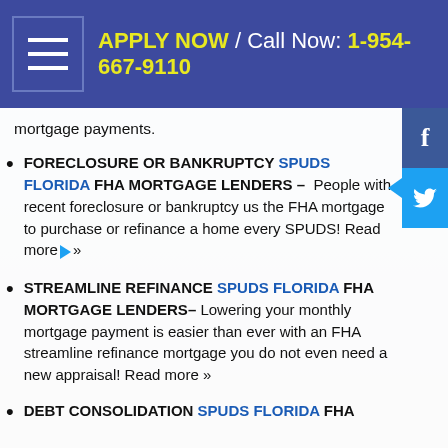APPLY NOW / Call Now: 1-954-667-9110
mortgage payments.
FORECLOSURE OR BANKRUPTCY SPUDS FLORIDA FHA MORTGAGE LENDERS – People with recent foreclosure or bankruptcy us the FHA mortgage to purchase or refinance a home every SPUDS! Read more »
STREAMLINE REFINANCE SPUDS FLORIDA FHA MORTGAGE LENDERS– Lowering your monthly mortgage payment is easier than ever with an FHA streamline refinance mortgage you do not even need a new appraisal! Read more »
DEBT CONSOLIDATION SPUDS FLORIDA FHA